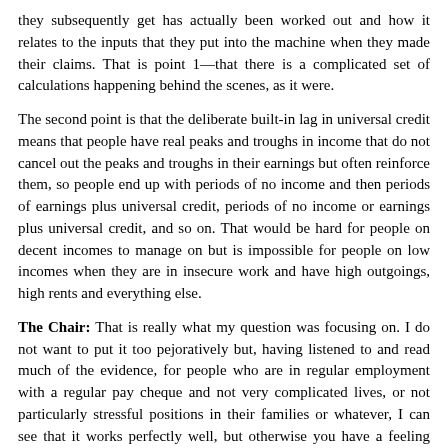they subsequently get has actually been worked out and how it relates to the inputs that they put into the machine when they made their claims. That is point 1—that there is a complicated set of calculations happening behind the scenes, as it were.
The second point is that the deliberate built-in lag in universal credit means that people have real peaks and troughs in income that do not cancel out the peaks and troughs in their earnings but often reinforce them, so people end up with periods of no income and then periods of earnings plus universal credit, periods of no income or earnings plus universal credit, and so on. That would be hard for people on decent incomes to manage on but is impossible for people on low incomes when they are in insecure work and have high outgoings, high rents and everything else.
The Chair: That is really what my question was focusing on. I do not want to put it too pejoratively but, having listened to and read much of the evidence, for people who are in regular employment with a regular pay cheque and not very complicated lives, or not particularly stressful positions in their families or whatever, I can see that it works perfectly well, but otherwise you have a feeling that people have to fit into the system rather than the system fitting to the people. Do you agree with that?
Emma Stewart: I absolutely agree with that. When the system